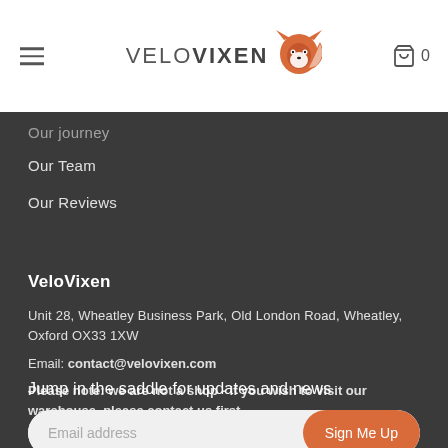VeloVixen
Our journey
Our Team
Our Reviews
VeloVixen
Unit 28, Wheatley Business Park, Old London Road, Wheatley, Oxford OX33 1XW
Email: contact@velovixen.com
Please note: we are not a shop - if you wish to visit our warehouse, please contact us first.
Jump in the saddle for updates and news
Email address  Sign Me Up